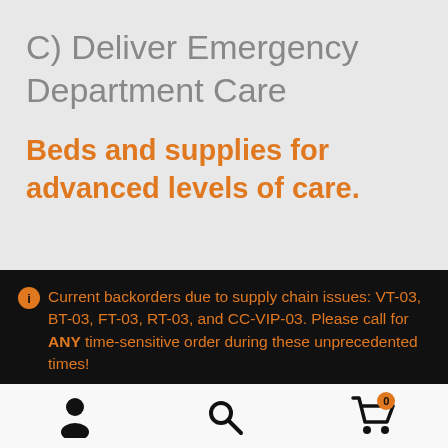C) Deliver Emergency Department Care
Beds and supplies for advanced levels of care.
Current backorders due to supply chain issues: VT-03, BT-03, FT-03, RT-03, and CC-VIP-03. Please call for ANY time-sensitive order during these unprecedented times!
Dismiss